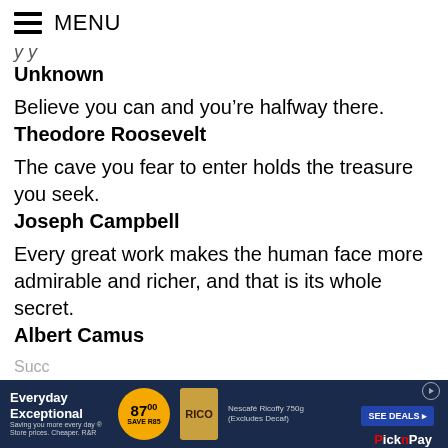MENU
Unknown
Believe you can and you're halfway there.
Theodore Roosevelt
The cave you fear to enter holds the treasure you seek.
Joseph Campbell
Every great work makes the human face more admirable and richer, and that is its whole secret.
Albert Camus
[Figure (other): Advertisement banner for Pick n Pay: Everyday Exceptional, 87.00 Save R85, Nescafe Ricoffy 750g (Excludes Decaf), SEE DEALS button, Pick n Pay logo]
Succ